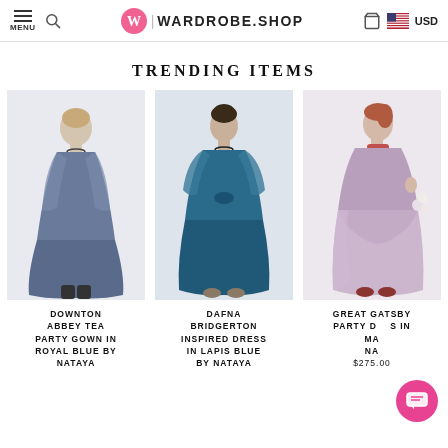MENU | WARDROBE.SHOP | USD
TRENDING ITEMS
[Figure (photo): Woman in long blue/grey lace gown - Downton Abbey Tea Party Gown in Royal Blue by Nataya]
DOWNTON ABBEY TEA PARTY GOWN IN ROYAL BLUE BY NATAYA
[Figure (photo): Woman in lapis blue dress - Dafna Bridgerton Inspired Dress in Lapis Blue by Nataya]
DAFNA BRIDGERTON INSPIRED DRESS IN LAPIS BLUE BY NATAYA
[Figure (photo): Woman in mauve/pink dress - Great Gatsby Party dress by Nataya]
GREAT GATSBY PARTY DRESS IN MA... NA... $275.00